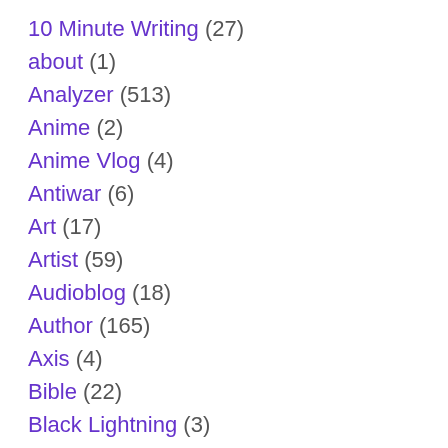10 Minute Writing (27)
about (1)
Analyzer (513)
Anime (2)
Anime Vlog (4)
Antiwar (6)
Art (17)
Artist (59)
Audioblog (18)
Author (165)
Axis (4)
Bible (22)
Black Lightning (3)
Blog (246)
Book (1)
Bradbury Challenge (4)